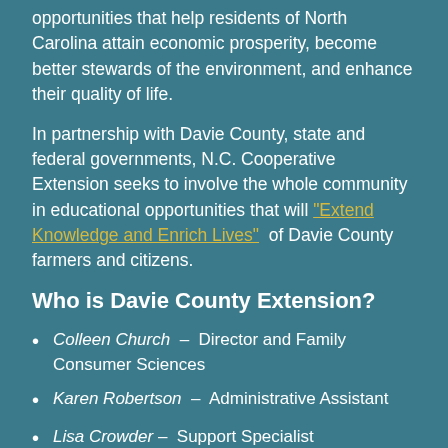opportunities that help residents of North Carolina attain economic prosperity, become better stewards of the environment, and enhance their quality of life.
In partnership with Davie County, state and federal governments, N.C. Cooperative Extension seeks to involve the whole community in educational opportunities that will "Extend Knowledge and Enrich Lives" of Davie County farmers and citizens.
Who is Davie County Extension?
Colleen Church – Director and Family Consumer Sciences
Karen Robertson – Administrative Assistant
Lisa Crowder – Support Specialist